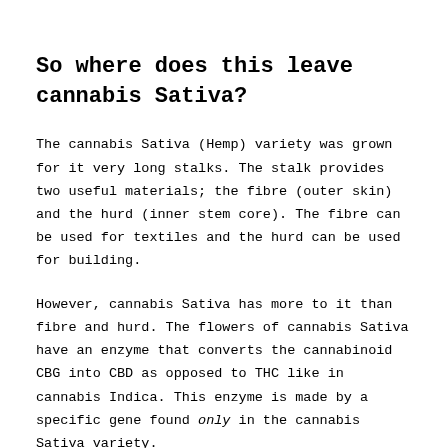So where does this leave cannabis Sativa?
The cannabis Sativa (Hemp) variety was grown for it very long stalks. The stalk provides two useful materials; the fibre (outer skin) and the hurd (inner stem core). The fibre can be used for textiles and the hurd can be used for building.
However, cannabis Sativa has more to it than fibre and hurd. The flowers of cannabis Sativa have an enzyme that converts the cannabinoid CBG into CBD as opposed to THC like in cannabis Indica. This enzyme is made by a specific gene found only in the cannabis Sativa variety.